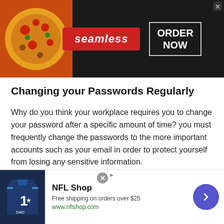[Figure (other): Seamless food delivery advertisement banner with pizza image on left, red Seamless logo in center, and ORDER NOW button in a white-bordered box on right, dark background]
Changing your Passwords Regularly
Why do you think your workplace requires you to change your password after a specific amount of time? you must frequently change the passwords to the more important accounts such as your email in order to protect yourself from losing any sensitive information.
By changing your account’s password regularly, the chance of your account being accessed is reduced. Just to be sure, set a reminder for 90 days on your phone, or
[Figure (other): NFL Shop advertisement banner with football jersey image on left, NFL Shop title, 'Free shipping on orders over $25', www.nflshop.com URL, and a blue circular arrow button on right]